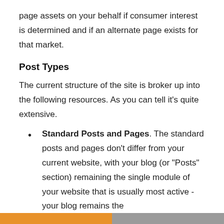page assets on your behalf if consumer interest is determined and if an alternate page exists for that market.
Post Types
The current structure of the site is broker up into the following resources. As you can tell it's quite extensive.
Standard Posts and Pages. The standard posts and pages don't differ from your current website, with your blog (or "Posts" section) remaining the single module of your website that is usually most active - your blog remains the